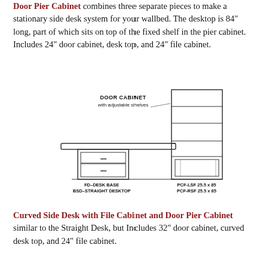Door Pier Cabinet combines three separate pieces to make a stationary side desk system for your wallbed. The desktop is 84" long, part of which sits on top of the fixed shelf in the pier cabinet. Includes 24" door cabinet, desk top, and 24" file cabinet.
[Figure (illustration): Line drawing of a desk system with FD-Desk Base / BSD-Straight Desktop on the left and a tall Door Cabinet with adjustable shelves (PCF-LSF 25.5x85 / PCF-RSF 25.5x85) on the right.]
Curved Side Desk with File Cabinet and Door Pier Cabinet similar to the Straight Desk, but Includes 32" door cabinet, curved desk top, and 24" file cabinet.